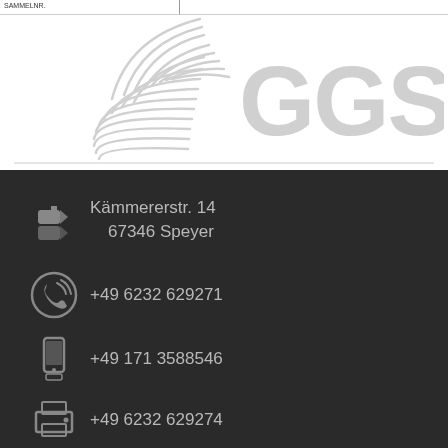[Figure (logo): GGS company logo with fingerprint graphic and large GGS letters in light gray]
Kämmererstr. 14
67346 Speyer
+49 6232 629271
+49 171 3588546
+49 6232 629274
kemper@ggs-speyer.de